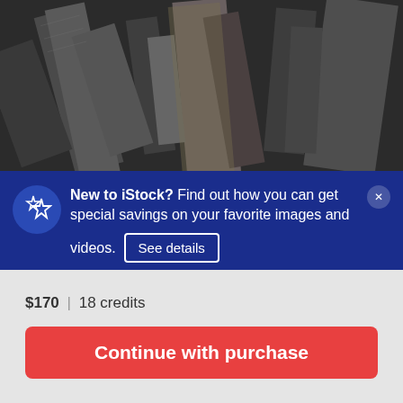[Figure (photo): Aerial/bird's eye view of a dense urban cityscape with tall skyscrapers viewed from above at an angle, dark tones]
New to iStock? Find out how you can get special savings on your favorite images and videos. See details
$170 | 18 credits
Continue with purchase